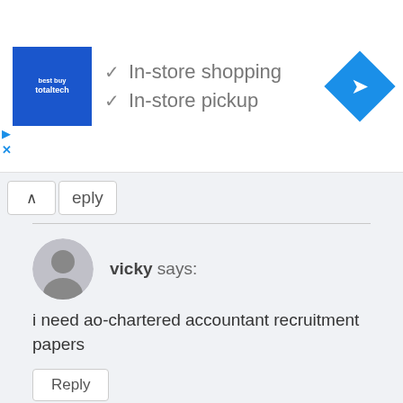[Figure (infographic): Advertisement banner showing Best Buy TotalTech logo with checkmarks for 'In-store shopping' and 'In-store pickup', and a Google Maps navigation icon on the right.]
↑  eply
vicky says:
i need ao-chartered accountant recruitment papers
Reply
Abhi says: